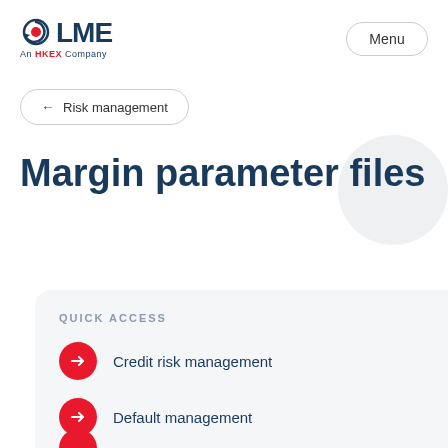[Figure (logo): LME - An HKEX Company logo with circular arrow icon in red and blue]
Menu
← Risk management
Margin parameter files
QUICK ACCESS
Credit risk management
Default management